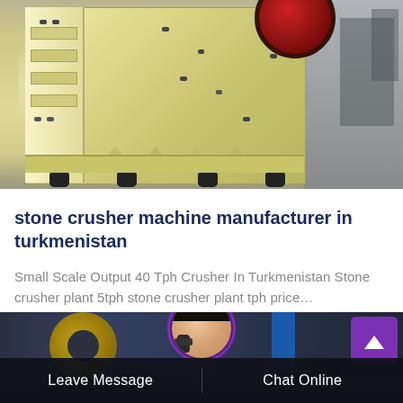[Figure (photo): A large yellow industrial jaw crusher machine photographed in a factory/warehouse setting. The machine has a boxy structure with side panels, bolts, triangular fins at the base, rubber feet, and a red flywheel visible at the top right. Industrial background visible on the right.]
stone crusher machine manufacturer in turkmenistan
Small Scale Output 40 Tph Crusher In Turkmenistan Stone crusher plant 5tph stone crusher plant tph price…
[Figure (photo): Bottom banner section showing an industrial factory background with heavy machinery, a yellow gear/wheel on the left, a blue banner on the right side, a purple scroll-to-top button with upward arrow in the top-right corner, and a circular avatar of a female customer service representative wearing a headset in the center top.]
Leave Message   Chat Online